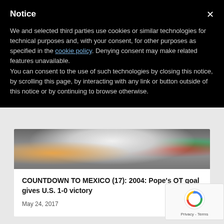Notice
We and selected third parties use cookies or similar technologies for technical purposes and, with your consent, for other purposes as specified in the cookie policy. Denying consent may make related features unavailable.
You can consent to the use of such technologies by closing this notice, by scrolling this page, by interacting with any link or button outside of this notice or by continuing to browse otherwise.
[Figure (photo): Partial photo of a person wearing a white outfit, visible from neck down, with colorful background elements]
COUNTDOWN TO MEXICO (17): 2004: Pope's OT goal gives U.S. 1-0 victory
May 24, 2017
[Figure (logo): reCAPTCHA badge with spinning arrow icon and Privacy - Terms text]